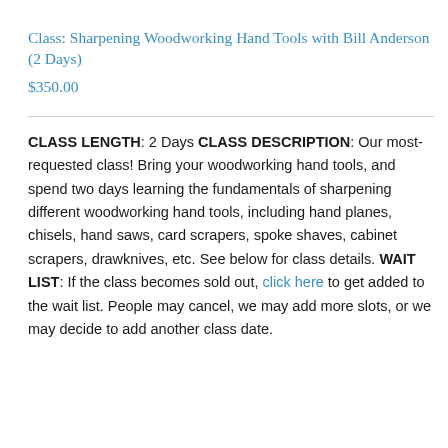Class: Sharpening Woodworking Hand Tools with Bill Anderson (2 Days)
$350.00
CLASS LENGTH: 2 Days CLASS DESCRIPTION: Our most-requested class! Bring your woodworking hand tools, and spend two days learning the fundamentals of sharpening different woodworking hand tools, including hand planes, chisels, hand saws, card scrapers, spoke shaves, cabinet scrapers, drawknives, etc. See below for class details. WAIT LIST: If the class becomes sold out, click here to get added to the wait list. People may cancel, we may add more slots, or we may decide to add another class date.